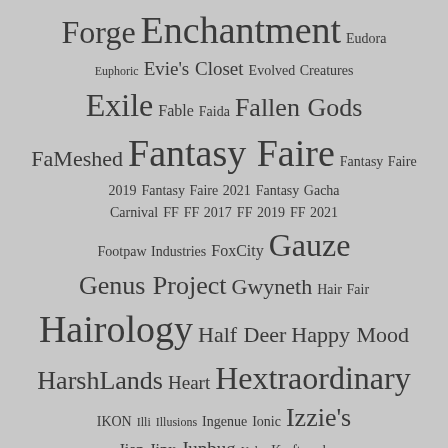Forge Enchantment Eudora Euphoric Evie's Closet Evolved Creatures Exile Fable Faida Fallen Gods FaMeshed Fantasy Faire Fantasy Faire 2019 Fantasy Faire 2021 Fantasy Gacha Carnival FF FF 2017 FF 2019 FF 2021 Footpaw Industries FoxCity Gauze Genus Project Gwyneth Hair Fair Hairology Half Deer Happy Mood HarshLands Heart Hextraordinary IKON Illi Illusions Ingenue Ionic Izzie's Jian Jinx Junbug Keke Kraftwork Landscapes Unlimited LAQ Lassitude & Ennui Lelutka Little Bones Lode Logo Love Lumae LumiPro Magika Maitreya Mandala Mesange Midsummer Enchantment Mina Minimal MishMash Fusion Monso Musa Nantra Nathaniel ND/MD Nofshehem Noble Creations